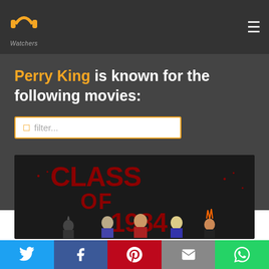PP Watchers logo and navigation menu
Perry King is known for the following movies:
filter...
[Figure (photo): Movie poster for Class of 1984, showing large red grunge-style text 'CLASS OF 1984' with illustrated teenage characters below]
Social share buttons: Twitter, Facebook, Pinterest, Email, WhatsApp